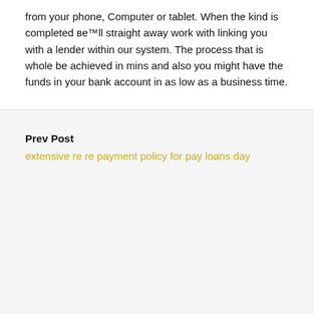from your phone, Computer or tablet. When the kind is completed веВ™ll straight away work with linking you with a lender within our system. The process that is whole be achieved in mins and also you might have the funds in your bank account in as low as a business time.
Prev Post
extensive re re payment policy for pay loans day